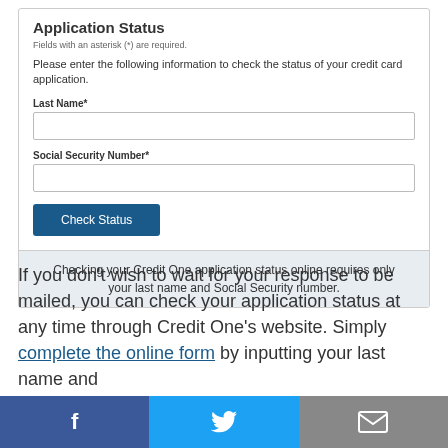Application Status
Fields with an asterisk (*) are required.
Please enter the following information to check the status of your credit card application.
Last Name*
Social Security Number*
[Figure (screenshot): Check Status button (blue)]
Checking your Credit One application status online requires only your last name and Social Security number.
If you don't wish to wait for your response to be mailed, you can check your application status at any time through Credit One's website. Simply complete the online form by inputting your last name and Social Security number, then click "Check Status"
[Figure (infographic): Social media sharing bar with Facebook, Twitter, and Email icons]